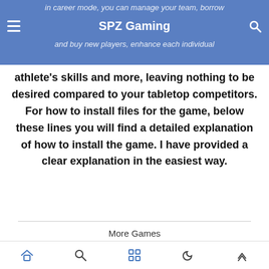in career mode, you can manage your team, borrow and buy new players, enhance each individual
SPZ Gaming
athlete's skills and more, leaving nothing to be desired compared to your tabletop competitors. For how to install files for the game, below these lines you will find a detailed explanation of how to install the game. I have provided a clear explanation in the easiest way.
More Games
[Figure (screenshot): Game thumbnail for Resident Evil 4]
Download Resident Evil 4 Original On Android | Download Resident Evil 4 For